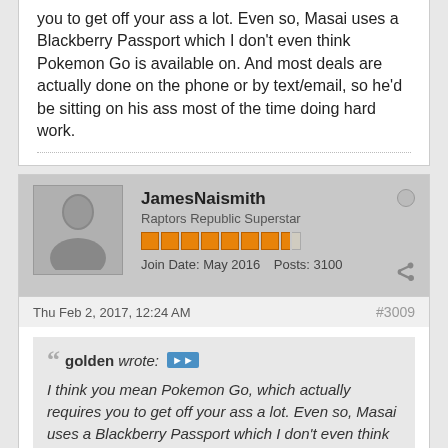you to get off your ass a lot. Even so, Masai uses a Blackberry Passport which I don't even think Pokemon Go is available on. And most deals are actually done on the phone or by text/email, so he'd be sitting on his ass most of the time doing hard work.
JamesNaismith
Raptors Republic Superstar
Join Date: May 2016   Posts: 3100
Thu Feb 2, 2017, 12:24 AM   #3009
golden wrote: I think you mean Pokemon Go, which actually requires you to get off your ass a lot. Even so, Masai uses a Blackberry Passport which I don't even think Pokemon Go is available on. And most deals are actually done on the phone or by text/email, so he'd be sitting on his ass most of the time doing hard work.